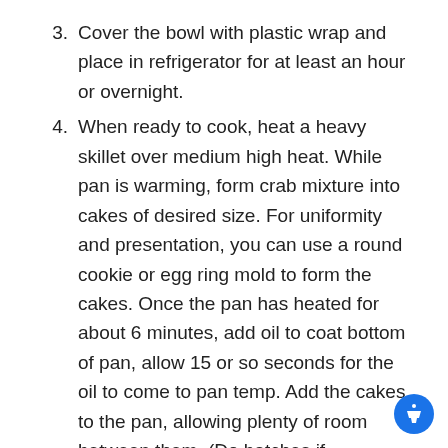3. Cover the bowl with plastic wrap and place in refrigerator for at least an hour or overnight.
4. When ready to cook, heat a heavy skillet over medium high heat. While pan is warming, form crab mixture into cakes of desired size. For uniformity and presentation, you can use a round cookie or egg ring mold to form the cakes. Once the pan has heated for about 6 minutes, add oil to coat bottom of pan, allow 15 or so seconds for the oil to come to pan temp. Add the cakes to the pan, allowing plenty of room between them. (Do batches if necessary, don't crowd the pan.) Saute cakes until golden brown, about 3-4 minutes per side. Place finished crab cakes on plate or tray with paper